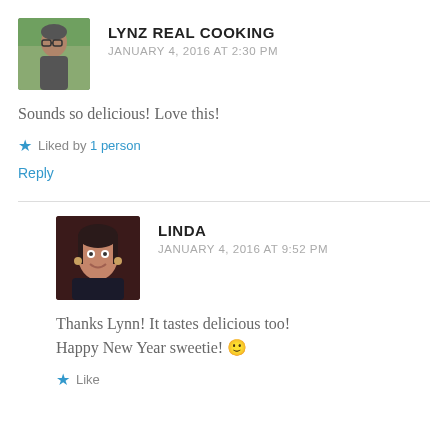[Figure (photo): Profile photo of Lynz Real Cooking commenter — person with glasses outdoors]
LYNZ REAL COOKING
JANUARY 4, 2016 AT 2:30 PM
Sounds so delicious! Love this!
Liked by 1 person
Reply
[Figure (photo): Profile photo of Linda commenter — woman smiling]
LINDA
JANUARY 4, 2016 AT 9:52 PM
Thanks Lynn! It tastes delicious too! Happy New Year sweetie! 🙂
Like